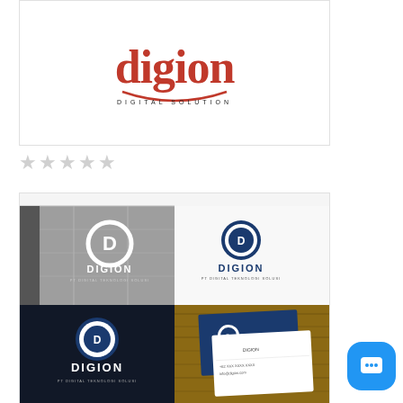[Figure (logo): Digion Digital Solution logo in red serif font with smile arc underline]
[Figure (other): Five empty star rating icons in light gray]
[Figure (photo): Digion logo branding mockup showing logo on building facade, flat white background, dark background, and business card mockup]
[Figure (other): Blue rounded chat/message button icon in bottom right corner]